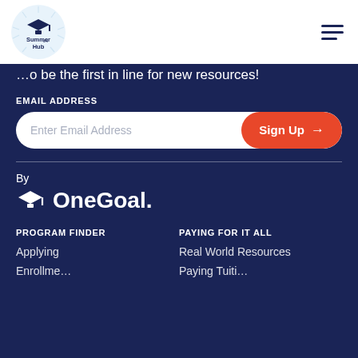[Figure (logo): Summer Hub Chicago logo — circular badge with graduation cap icon and 'Summer Hub chi' text]
[Figure (other): Hamburger menu icon (three horizontal lines)]
…o be the first in line for new resources!
EMAIL ADDRESS
Enter Email Address
Sign Up →
By
[Figure (logo): OneGoal logo — graduation cap icon followed by 'OneGoal.' in white text]
PROGRAM FINDER
PAYING FOR IT ALL
Applying
Real World Resources
Enrollme…
Paying Tuiti…